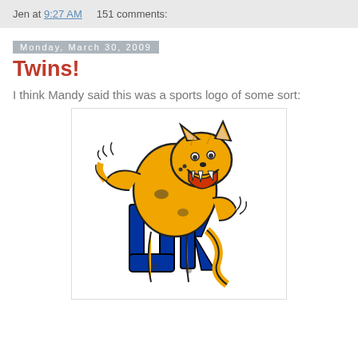Jen at 9:27 AM    151 comments:
Monday, March 30, 2009
Twins!
I think Mandy said this was a sports logo of some sort:
[Figure (logo): University of Kentucky Wildcats mascot logo — an orange/gold wildcat with claws extended, roaring, standing over blue 'UK' letters]